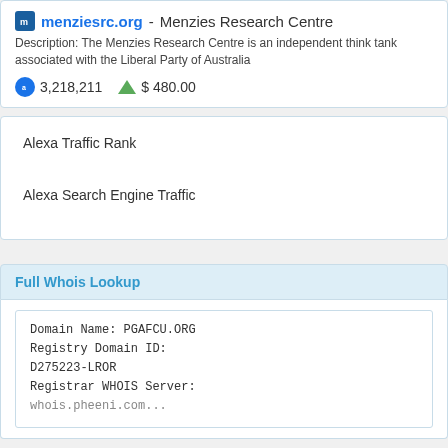menziesrc.org - Menzies Research Centre
Description: The Menzies Research Centre is an independent think tank associated with the Liberal Party of Australia
3,218,211   $ 480.00
Alexa Traffic Rank
Alexa Search Engine Traffic
Full Whois Lookup
Domain Name: PGAFCU.ORG
Registry Domain ID: D275223-LROR
Registrar WHOIS Server: